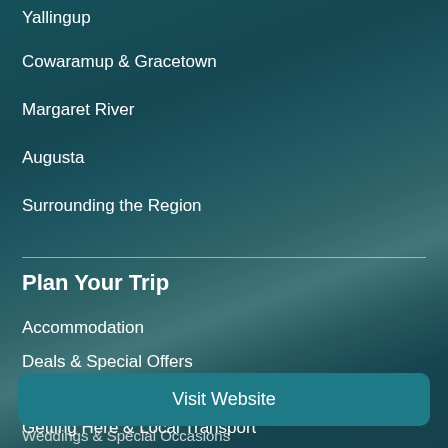Yallingup
Cowaramup & Gracetown
Margaret River
Augusta
Surrounding the Region
Plan Your Trip
Accommodation
Deals & Special Offers
Travel Safety & Emergency Services
Getting Here & Local Transport
Visit Website
Weddings & Special Occasions